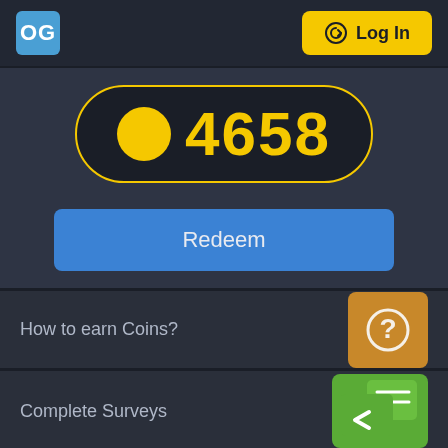OG | Log In
4658
Redeem
How to earn Coins?
Complete Surveys